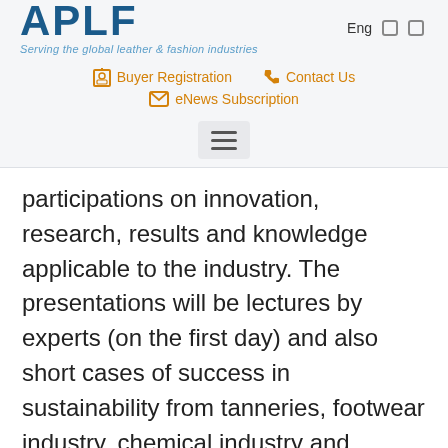APLF - Serving the global leather & fashion industries
Buyer Registration  Contact Us  eNews Subscription
[Figure (other): Hamburger menu button icon]
participations on innovation, research, results and knowledge applicable to the industry. The presentations will be lectures by experts (on the first day) and also short cases of success in sustainability from tanneries, footwear industry, chemical industry and certification (second day of the event). Simultaneous translation Portuguese / English will be available. Register here.